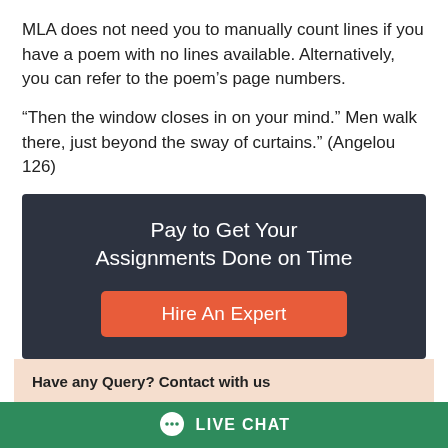MLA does not need you to manually count lines if you have a poem with no lines available. Alternatively, you can refer to the poem's page numbers.
“Then the window closes in on your mind.” Men walk there, just beyond the sway of curtains.” (Angelou 126)
[Figure (infographic): Dark navy ad box with white text 'Pay to Get Your Assignments Done on Time' and an orange 'Hire An Expert' button]
Have any Query? Contact with us
Sales Chat
(New Assignment Inquiry)
Support Chat
(Assignment Already Booked)
LIVE CHAT